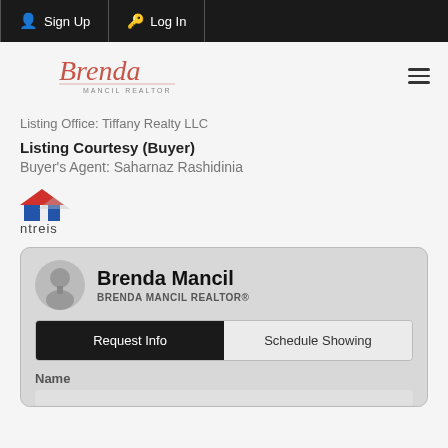Sign Up  Log In
[Figure (logo): Brenda Mancil Realtor script logo in red/pink italic font with subtitle text]
Listing Office: Tiffany Realty LLC
Listing Courtesy (Buyer)
Buyer's Agent: Saharnaz Rashidinia
[Figure (logo): NTREIS logo - red and blue house/building icon with text 'ntreis' below]
Brenda Mancil
BRENDA MANCIL REALTOR®
Request Info  Schedule Showing
Name